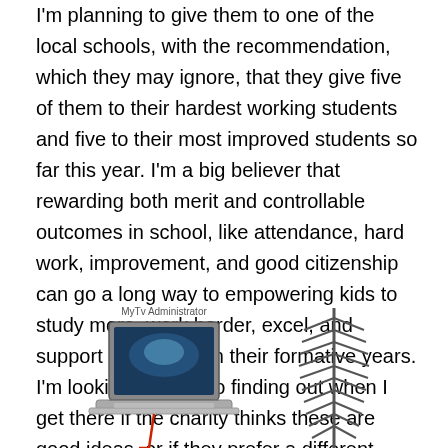I'm planning to give them to one of the local schools, with the recommendation, which they may ignore, that they give five of them to their hardest working students and five to their most improved students so far this year. I'm a big believer that rewarding both merit and controllable outcomes in school, like attendance, hard work, improvement, and good citizenship can go a long way to empowering kids to study more, work harder, excel, and support each other in their formative years. I'm looking forward to finding out when I get there if the charity thinks these are good ideas, or if they prefer a different approach.
[Figure (illustration): A laptop computer labeled 'MyTv Administrator' on the left, and a TV antenna on the right, partially visible at the bottom of the page.]